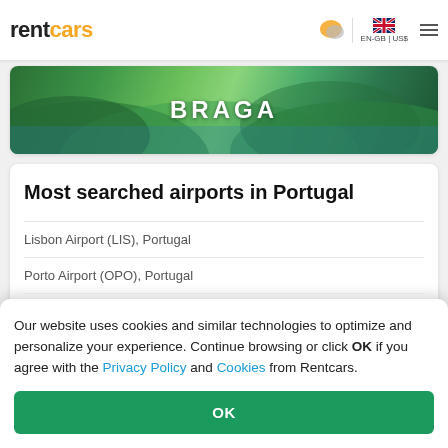rentcars — EN-GB | US$
[Figure (photo): Aerial landscape photo of BRAGA with green hills and coastline]
Most searched airports in Portugal
Lisbon Airport (LIS), Portugal
Porto Airport (OPO), Portugal
Ponta Delgada Airport (PDL), Portugal
Our website uses cookies and similar technologies to optimize and personalize your experience. Continue browsing or click OK if you agree with the Privacy Policy and Cookies from Rentcars.
OK